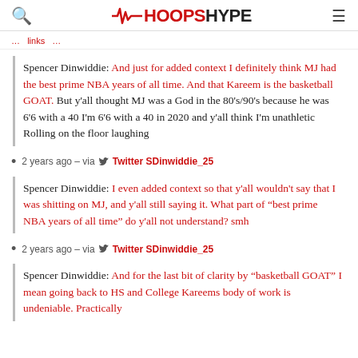HOOPSHYPE
[navigation link bar - partially visible]
Spencer Dinwiddie: And just for added context I definitely think MJ had the best prime NBA years of all time. And that Kareem is the basketball GOAT. But y'all thought MJ was a God in the 80's/90's because he was 6'6 with a 40 I'm 6'6 with a 40 in 2020 and y'all think I'm unathletic Rolling on the floor laughing
2 years ago – via Twitter SDinwiddie_25
Spencer Dinwiddie: I even added context so that y'all wouldn't say that I was shitting on MJ, and y'all still saying it. What part of "best prime NBA years of all time" do y'all not understand? smh
2 years ago – via Twitter SDinwiddie_25
Spencer Dinwiddie: And for the last bit of clarity by "basketball GOAT" I mean going back to HS and College Kareems body of work is undeniable. Practically